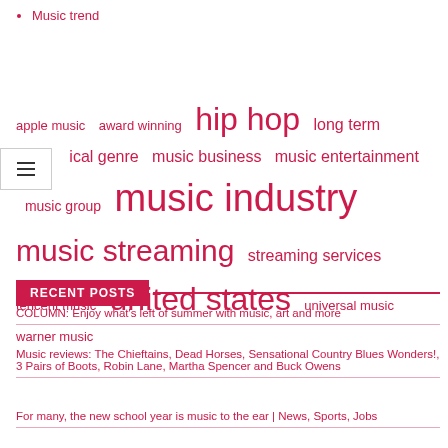Music trend
[Figure (infographic): Tag cloud with music-related terms in various sizes in crimson/pink color: apple music, award winning, hip hop (large), long term, musical genre, music business, music entertainment, music group, music industry (very large), music streaming (very large), streaming services, tencent music, united states (large), universal music, warner music]
RECENT POSTS
COLUMN: Enjoy what's left of summer with music, art and more
Music reviews: The Chieftains, Dead Horses, Sensational Country Blues Wonders!, 3 Pairs of Boots, Robin Lane, Martha Spencer and Buck Owens
For many, the new school year is music to the ear | News, Sports, Jobs